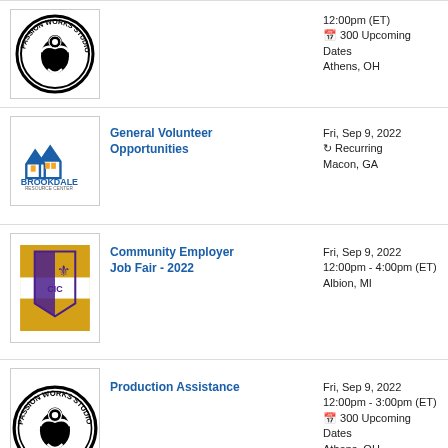[Figure (logo): Passion Works Studio circular logo in black and white]
12:00pm (ET)
300 Upcoming Dates
Athens, OH
[Figure (logo): Brookdale Resource Center logo with blue house icons]
General Volunteer Opportunities
Fri, Sep 9, 2022
Recurring
Macon, GA
[Figure (logo): CIC crest logo on gold and purple background]
Community Employer Job Fair - 2022
Fri, Sep 9, 2022
12:00pm - 4:00pm (ET)
Albion, MI
[Figure (logo): Passion Works Studio circular logo]
Production Assistance
Fri, Sep 9, 2022
12:00pm - 3:00pm (ET)
300 Upcoming Dates
Athens, OH